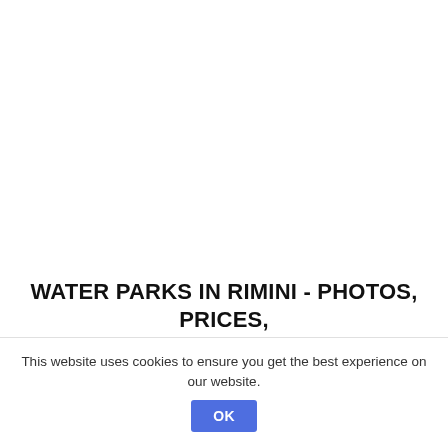WATER PARKS IN RIMINI - PHOTOS, PRICES, DESCRIPTION
This website uses cookies to ensure you get the best experience on our website.